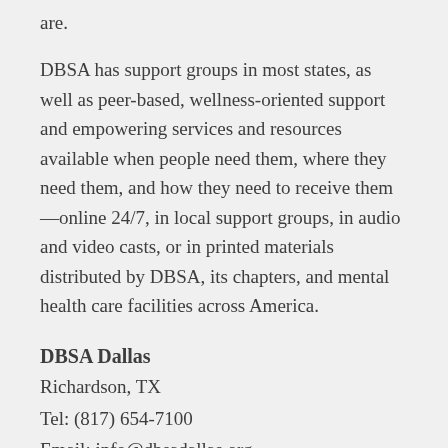are.
DBSA has support groups in most states, as well as peer-based, wellness-oriented support and empowering services and resources available when people need them, where they need them, and how they need to receive them—online 24/7, in local support groups, in audio and video casts, or in printed materials distributed by DBSA, its chapters, and mental health care facilities across America.
DBSA Dallas
Richardson, TX
Tel: (817) 654-7100
Email: info@dbsadallas.org